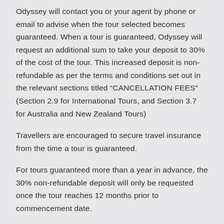Odyssey will contact you or your agent by phone or email to advise when the tour selected becomes guaranteed. When a tour is guaranteed, Odyssey will request an additional sum to take your deposit to 30% of the cost of the tour. This increased deposit is non-refundable as per the terms and conditions set out in the relevant sections titled “CANCELLATION FEES” (Section 2.9 for International Tours, and Section 3.7 for Australia and New Zealand Tours)
Travellers are encouraged to secure travel insurance from the time a tour is guaranteed.
For tours guaranteed more than a year in advance, the 30% non-refundable deposit will only be requested once the tour reaches 12 months prior to commencement date.